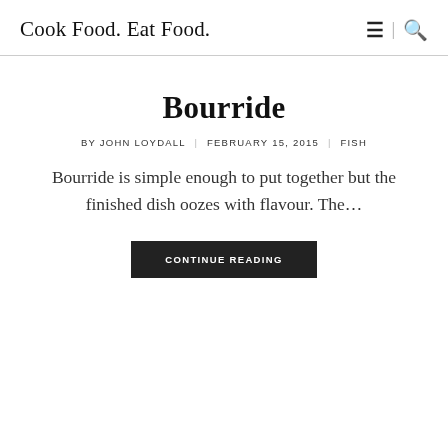Cook Food. Eat Food.
Bourride
BY JOHN LOYDALL | FEBRUARY 15, 2015 | FISH
Bourride is simple enough to put together but the finished dish oozes with flavour. The...
CONTINUE READING